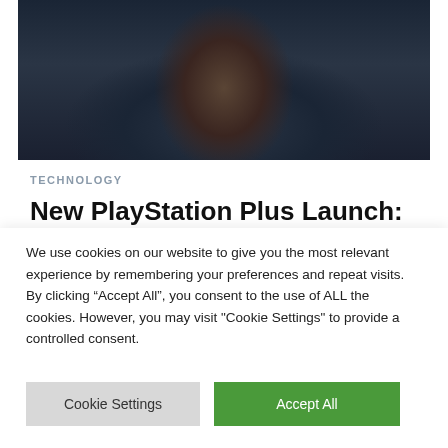[Figure (photo): Close-up of a man's face wearing dark futuristic armor/gear, with a dark moody background. Appears to be a video game character or promotional image.]
TECHNOLOGY
New PlayStation Plus Launch: What Gamers Need to Know Now
We use cookies on our website to give you the most relevant experience by remembering your preferences and repeat visits. By clicking “Accept All”, you consent to the use of ALL the cookies. However, you may visit "Cookie Settings" to provide a controlled consent.